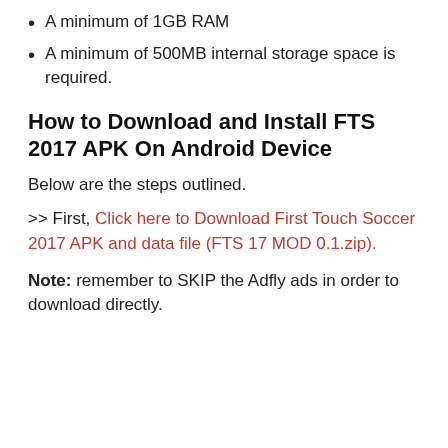A minimum of 1GB RAM
A minimum of 500MB internal storage space is required.
How to Download and Install FTS 2017 APK On Android Device
Below are the steps outlined.
>> First, Click here to Download First Touch Soccer 2017 APK and data file (FTS 17 MOD 0.1.zip).
Note: remember to SKIP the Adfly ads in order to download directly.